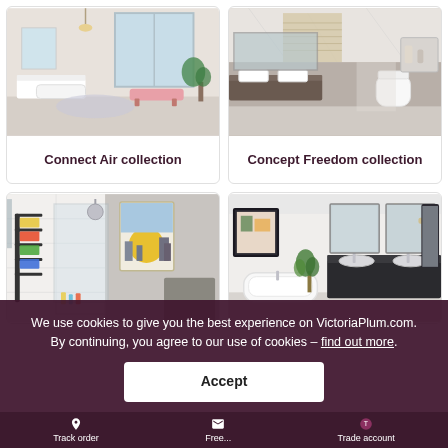[Figure (photo): Bathroom scene with floating vanity unit, large mirror, and freestanding bath with pink bench in background — Connect Air collection]
Connect Air collection
[Figure (photo): Modern bathroom with wall-hung toilet, floating vanity, marble tiles, and open walk-in shower — Concept Freedom collection]
Concept Freedom collection
[Figure (photo): Bathroom with shower enclosure, towel rail, colourful towels, and framed artwork poster with yellow sun design]
[Figure (photo): Large bathroom with freestanding bath, twin sinks on dark vanity unit, framed artwork, and plant]
We use cookies to give you the best experience on VictoriaPlum.com. By continuing, you agree to our use of cookies – find out more.
Accept
Track order  Free...  Trade account